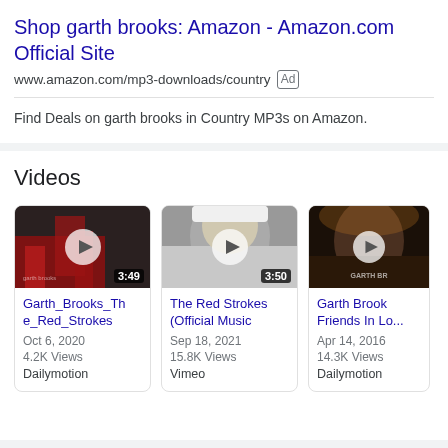Shop garth brooks: Amazon - Amazon.com Official Site
www.amazon.com/mp3-downloads/country  Ad
Find Deals on garth brooks in Country MP3s on Amazon.
Videos
[Figure (screenshot): Video thumbnail for Garth_Brooks_The_Red_Strokes with play button and duration 3:49]
Garth_Brooks_The_Red_Strokes
Oct 6, 2020
4.2K Views
Dailymotion
[Figure (screenshot): Video thumbnail for The Red Strokes (Official Music video with play button and duration 3:50]
The Red Strokes (Official Music
Sep 18, 2021
15.8K Views
Vimeo
[Figure (screenshot): Video thumbnail for Garth Brooks Friends In Lo... with play button]
Garth Brook Friends In Lo...
Apr 14, 2016
14.3K Views
Dailymotion